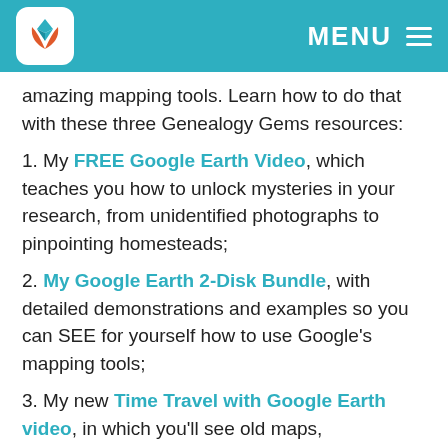MENU
amazing mapping tools. Learn how to do that with these three Genealogy Gems resources:
1. My FREE Google Earth Video, which teaches you how to unlock mysteries in your research, from unidentified photographs to pinpointing homesteads;
2. My Google Earth 2-Disk Bundle, with detailed demonstrations and examples so you can SEE for yourself how to use Google’s mapping tools;
3. My new Time Travel with Google Earth video, in which you’ll see old maps, genealogical records, images, and videos come together to create stunning time travel experiences in Google Earth. This is available to Genealogy Gems…